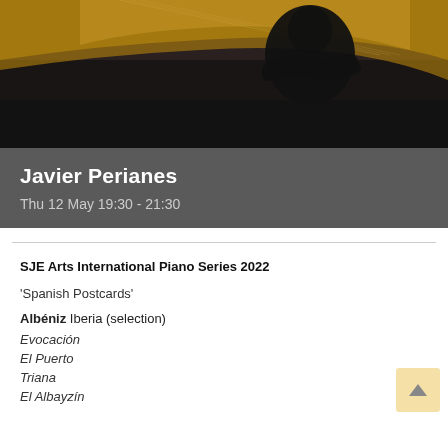[Figure (photo): Black and white portrait photo of Javier Perianes, a pianist, seated at or near a grand piano with his arms crossed, wearing dark clothing]
Javier Perianes
Thu 12 May 19:30 - 21:30
SJE Arts International Piano Series 2022
'Spanish Postcards'
Albéniz Iberia (selection)
Evocación
El Puerto
Triana
El Albayzín